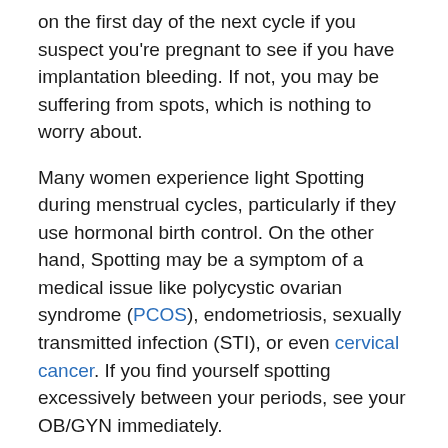on the first day of the next cycle if you suspect you're pregnant to see if you have implantation bleeding. If not, you may be suffering from spots, which is nothing to worry about.
Many women experience light Spotting during menstrual cycles, particularly if they use hormonal birth control. On the other hand, Spotting may be a symptom of a medical issue like polycystic ovarian syndrome (PCOS), endometriosis, sexually transmitted infection (STI), or even cervical cancer. If you find yourself spotting excessively between your periods, see your OB/GYN immediately.
Pink-Brown: What does mean?
Pink-brown discharge is most common during menstruation, particularly if you're on an estrogen